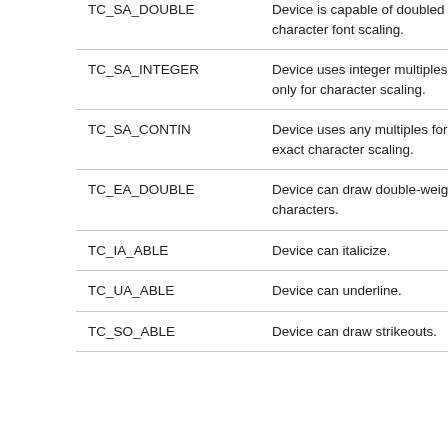| Constant | Description |
| --- | --- |
| TC_SA_DOUBLE | Device is capable of doubled character font scaling. |
| TC_SA_INTEGER | Device uses integer multiples only for character scaling. |
| TC_SA_CONTIN | Device uses any multiples for exact character scaling. |
| TC_EA_DOUBLE | Device can draw double-weight characters. |
| TC_IA_ABLE | Device can italicize. |
| TC_UA_ABLE | Device can underline. |
| TC_SO_ABLE | Device can draw strikeouts. |